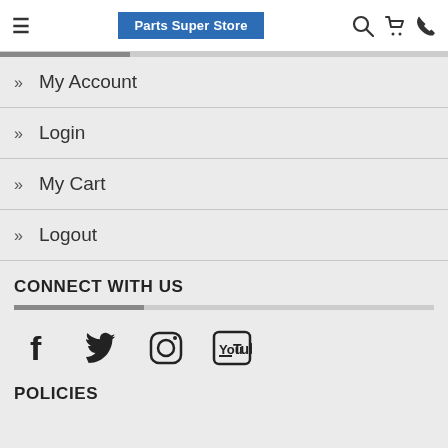Parts Super Store
My Account
Login
My Cart
Logout
CONNECT WITH US
[Figure (infographic): Social media icons: Facebook, Twitter, Instagram, YouTube]
POLICIES